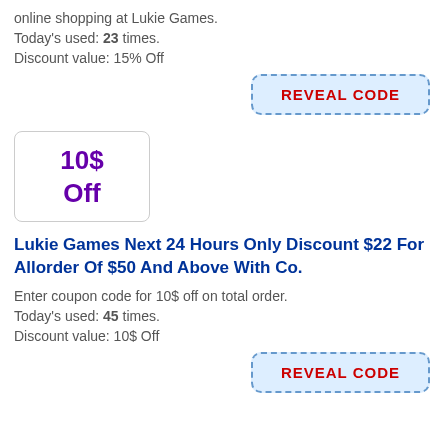online shopping at Lukie Games.
Today's used: 23 times.
Discount value: 15% Off
[Figure (other): REVEAL CODE button with dashed blue border and red text on light blue background]
[Figure (other): Coupon box showing 10$ Off in purple bold text with border]
Lukie Games Next 24 Hours Only Discount $22 For Allorder Of $50 And Above With Co.
Enter coupon code for 10$ off on total order.
Today's used: 45 times.
Discount value: 10$ Off
[Figure (other): REVEAL CODE button with dashed blue border and red text on light blue background]